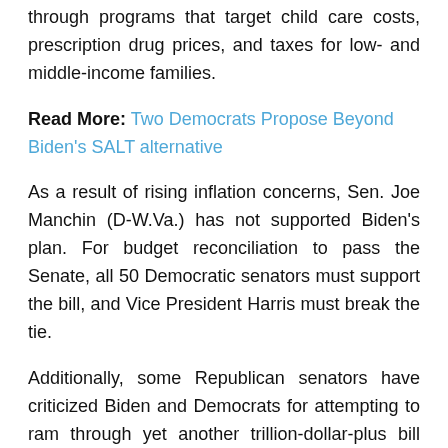through programs that target child care costs, prescription drug prices, and taxes for low- and middle-income families.
Read More: Two Democrats Propose Beyond Biden's SALT alternative
As a result of rising inflation concerns, Sen. Joe Manchin (D-W.Va.) has not supported Biden's plan. For budget reconciliation to pass the Senate, all 50 Democratic senators must support the bill, and Vice President Harris must break the tie.
Additionally, some Republican senators have criticized Biden and Democrats for attempting to ram through yet another trillion-dollar-plus bill following the passage of the $1.9 trillion American Rescue Plan economic stimulus package along party lines in March 2021. In the midst of the COVID-19 recession, many economists believe the bill has accelerated